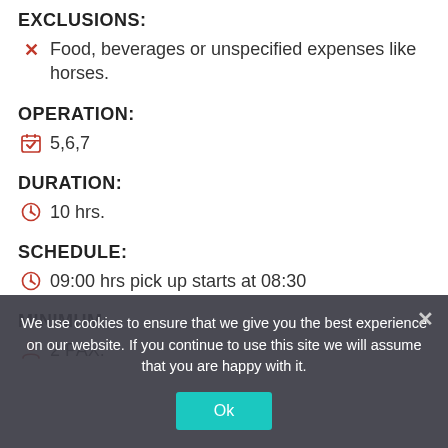EXCLUSIONS:
Food, beverages or unspecified expenses like horses.
OPERATION:
5,6,7
DURATION:
10 hrs.
SCHEDULE:
09:00 hrs pick up starts at 08:30
MINIMUM:
2 PAX.
We use cookies to ensure that we give you the best experience on our website. If you continue to use this site we will assume that you are happy with it.